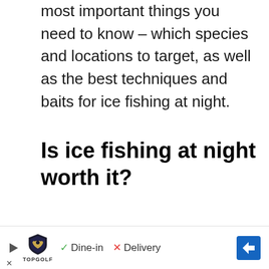most important things you need to know – which species and locations to target, as well as the best techniques and baits for ice fishing at night.
Is ice fishing at night worth it?
Ice fishing at night is absolutely worth it if you target the right species, and use the
[Figure (other): Advertisement banner for TopGolf showing a play button, TopGolf shield logo, checkmark with 'Dine-in', X with 'Delivery', and a blue diamond navigation arrow.]